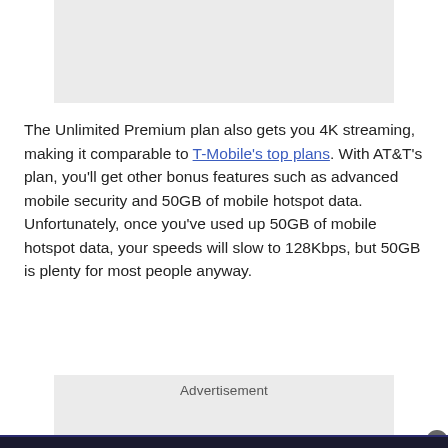[Figure (other): Gray advertisement placeholder box at the top of the page]
The Unlimited Premium plan also gets you 4K streaming, making it comparable to T-Mobile's top plans. With AT&T's plan, you'll get other bonus features such as advanced mobile security and 50GB of mobile hotspot data. Unfortunately, once you've used up 50GB of mobile hotspot data, your speeds will slow to 128Kbps, but 50GB is plenty for most people anyway.
Advertisement
[Figure (other): Gray advertisement placeholder box at the bottom of the page]